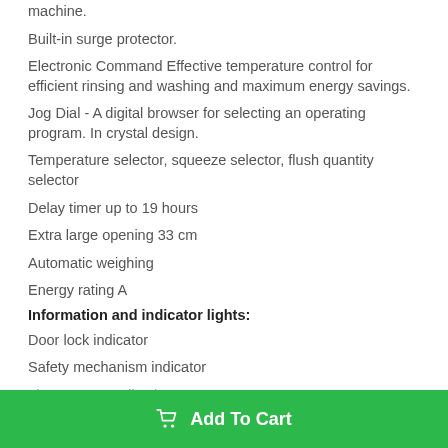machine.
Built-in surge protector.
Electronic Command Effective temperature control for efficient rinsing and washing and maximum energy savings.
Jog Dial - A digital browser for selecting an operating program. In crystal design.
Temperature selector, squeeze selector, flush quantity selector
Delay timer up to 19 hours
Extra large opening 33 cm
Automatic weighing
Energy rating A
Information and indicator lights:
Door lock indicator
Safety mechanism indicator
Time Center Indication
Add To Cart